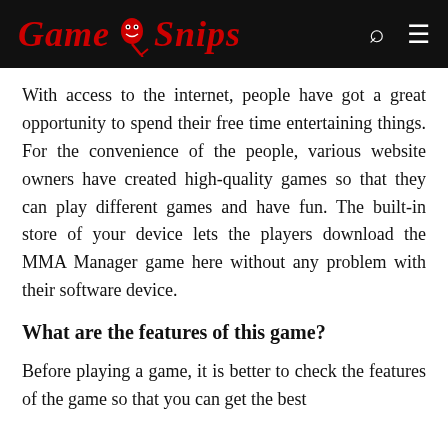GameSnips
With access to the internet, people have got a great opportunity to spend their free time entertaining things. For the convenience of the people, various website owners have created high-quality games so that they can play different games and have fun. The built-in store of your device lets the players download the MMA Manager game here without any problem with their software device.
What are the features of this game?
Before playing a game, it is better to check the features of the game so that you can get the best